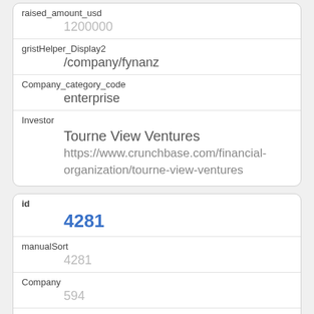| Field | Value |
| --- | --- |
| raised_amount_usd | 1200000 |
| gristHelper_Display2 | /company/fynanz |
| Company_category_code | enterprise |
| Investor | Tourne View Ventures
https://www.crunchbase.com/financial-organization/tourne-view-ventures |
| Field | Value |
| --- | --- |
| id | 4281 |
| manualSort | 4281 |
| Company | 594 |
| investor_permalink | /financial-organization/zelkova-ventures |
| investor_name |  |